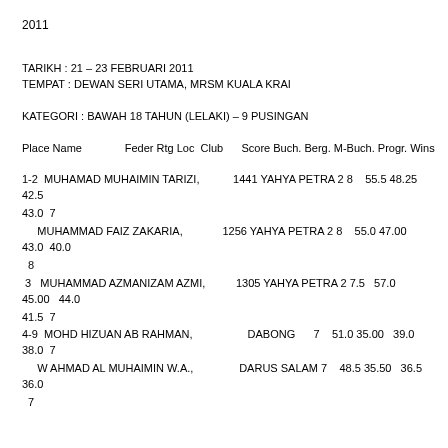2011
TARIKH : 21 – 23 FEBRUARI 2011
TEMPAT :  DEWAN SERI UTAMA, MRSM KUALA KRAI
KATEGORI :  BAWAH 18 TAHUN (LELAKI) – 9 PUSINGAN
Place Name                 Feder Rtg Loc  Club       Score Buch. Berg. M-Buch. Progr. Wins
1-2  MUHAMAD MUHAIMIN TARIZI,           1441 YAHYA PETRA 2 8    55.5 48.25   42.5  43.0  7
     MUHAMMAD FAIZ ZAKARIA,             1256 YAHYA PETRA 2 8    55.0 47.00   43.0  40.0  8
 3   MUHAMMAD AZMANIZAM AZMI,           1305 YAHYA PETRA 2 7.5   57.0 45.00   44.0  41.5  7
4-9  MOHD HIZUAN AB RAHMAN,                   DABONG      7    51.0 35.00   39.0  38.0  7
     W AHMAD AL MUHAIMIN W.A.,                DARUS SALAM 7    48.5 35.50   36.5  36.0
 7